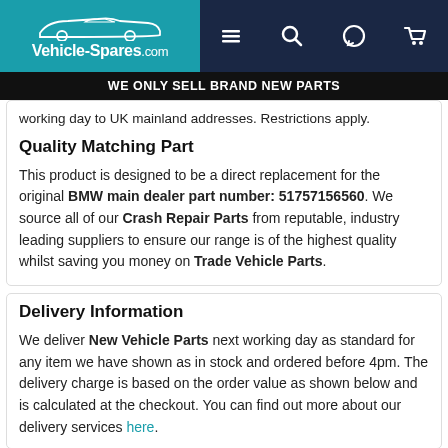[Figure (logo): Vehicle-Spares.com logo with car silhouette on teal background, alongside dark navy navigation bar with hamburger menu, search, chat, and cart icons]
WE ONLY SELL BRAND NEW PARTS
working day to UK mainland addresses. Restrictions apply.
Quality Matching Part
This product is designed to be a direct replacement for the original BMW main dealer part number: 51757156560. We source all of our Crash Repair Parts from reputable, industry leading suppliers to ensure our range is of the highest quality whilst saving you money on Trade Vehicle Parts.
Delivery Information
We deliver New Vehicle Parts next working day as standard for any item we have shown as in stock and ordered before 4pm. The delivery charge is based on the order value as shown below and is calculated at the checkout. You can find out more about our delivery services here.